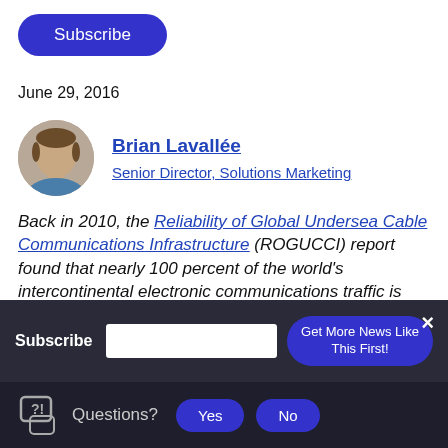Subscribe
June 29, 2016
[Figure (photo): Headshot of Brian Lavallée, circular crop]
Brian Lavallée
Senior Director, Solutions Marketing
Back in 2010, the Reliability of Global Undersea Cable Communications Infrastructure (ROGUCCI) report found that nearly 100 percent of the world's intercontinental electronic communications traffic is carried by the undersea
Subscribe  [input field]  Get More News Like This First!  ×
Questions?  Yes  No